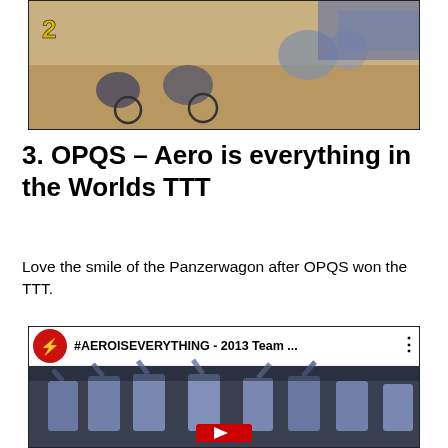[Figure (photo): Cycling race photo showing riders on bicycles, number 2 badge visible in top-left corner, sandy/dusty background]
3. OPQS – Aero is everything in the Worlds TTT
Love the smile of the Panzerwagon after OPQS won the TTT.
[Figure (screenshot): YouTube video embed showing #AEROISEVERYTHING - 2013 Team ... with Specialized logo, team members celebrating with raised arms on podium]